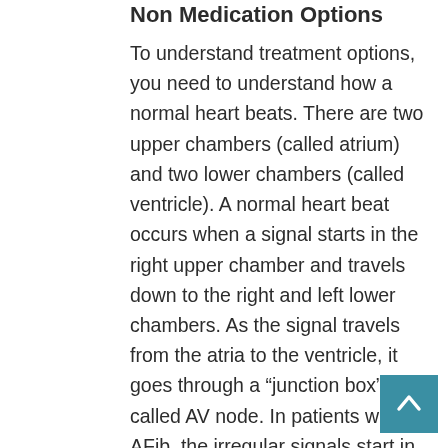Non Medication Options
To understand treatment options, you need to understand how a normal heart beats. There are two upper chambers (called atrium) and two lower chambers (called ventricle). A normal heart beat occurs when a signal starts in the right upper chamber and travels down to the right and left lower chambers. As the signal travels from the atria to the ventricle, it goes through a “junction box” called AV node. In patients with AFib, the irregular signals start in the left